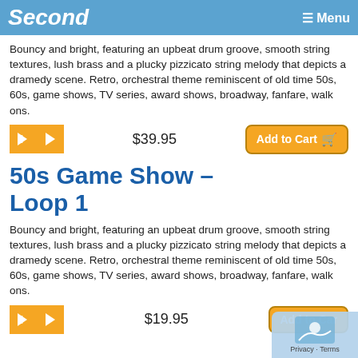Second  ☰ Menu
Bouncy and bright, featuring an upbeat drum groove, smooth string textures, lush brass and a plucky pizzicato string melody that depicts a dramedy scene. Retro, orchestral theme reminiscent of old time 50s, 60s, game shows, TV series, award shows, broadway, fanfare, walk ons.
$39.95
50s Game Show – Loop 1
Bouncy and bright, featuring an upbeat drum groove, smooth string textures, lush brass and a plucky pizzicato string melody that depicts a dramedy scene. Retro, orchestral theme reminiscent of old time 50s, 60s, game shows, TV series, award shows, broadway, fanfare, walk ons.
$19.95